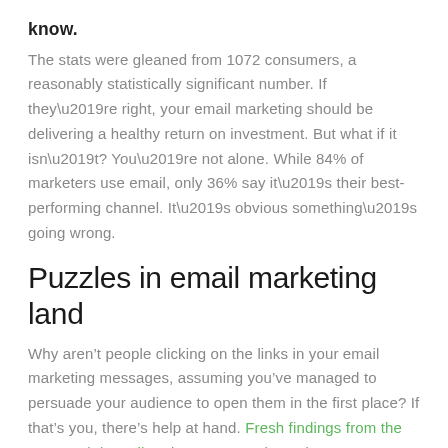know.
The stats were gleaned from 1072 consumers, a reasonably statistically significant number. If they’re right, your email marketing should be delivering a healthy return on investment. But what if it isn’t? You’re not alone. While 84% of marketers use email, only 36% say it’s their best-performing channel. It’s obvious something’s going wrong.
Puzzles in email marketing land
Why aren’t people clicking on the links in your email marketing messages, assuming you’ve managed to persuade your audience to open them in the first place? If that’s you, there’s help at hand. Fresh findings from the DMA and dotmailer give us some clues about